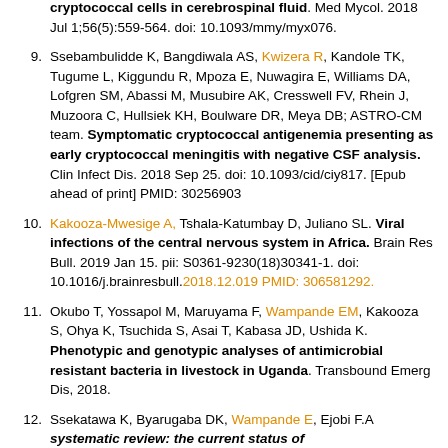(continuation) cryptococcal cells in cerebrospinal fluid. Med Mycol. 2018 Jul 1;56(5):559-564. doi: 10.1093/mmy/myx076.
9. Ssebambulidde K, Bangdiwala AS, Kwizera R, Kandole TK, Tugume L, Kiggundu R, Mpoza E, Nuwagira E, Williams DA, Lofgren SM, Abassi M, Musubire AK, Cresswell FV, Rhein J, Muzoora C, Hullsiek KH, Boulware DR, Meya DB; ASTRO-CM team. Symptomatic cryptococcal antigenemia presenting as early cryptococcal meningitis with negative CSF analysis. Clin Infect Dis. 2018 Sep 25. doi: 10.1093/cid/ciy817. [Epub ahead of print] PMID: 30256903
10. Kakooza-Mwesige A, Tshala-Katumbay D, Juliano SL. Viral infections of the central nervous system in Africa. Brain Res Bull. 2019 Jan 15. pii: S0361-9230(18)30341-1. doi: 10.1016/j.brainresbull.2018.12.019 PMID: 306581292.
11. Okubo T, Yossapol M, Maruyama F, Wampande EM, Kakooza S, Ohya K, Tsuchida S, Asai T, Kabasa JD, Ushida K. Phenotypic and genotypic analyses of antimicrobial resistant bacteria in livestock in Uganda. Transbound Emerg Dis, 2018.
12. Ssekatawa K, Byarugaba DK, Wampande E, Ejobi F.A systematic review: the current status of